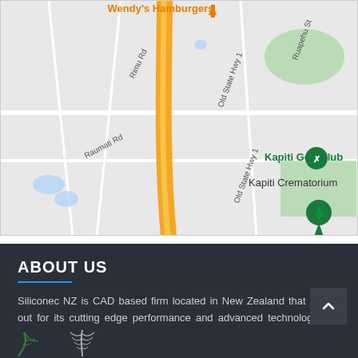[Figure (map): Google Maps screenshot showing Kapiti area roads including Old State Hwy 1, Raumati Rd, Rimu Rd, Ruapehu St. Shows Kapiti Golf Club and Kapiti Crematorium landmarks with map pins. Yellow road (major highway) runs vertically on left. Green areas visible. Wendy's Hamburgers label at top.]
ABOUT US
Siliconec NZ is CAD based firm located in New Zealand that stands out for its cutting edge performance and advanced technology. We are a team of dedicated and passionate expert professionals.